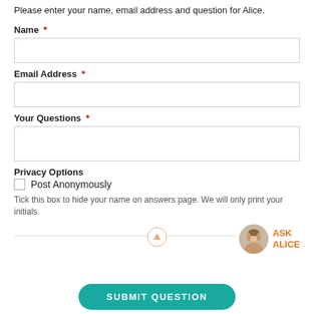Please enter your name, email address and question for Alice.
Name *
Email Address *
Your Questions *
Privacy Options
Post Anonymously
Tick this box to hide your name on answers page. We will only print your initials.
[Figure (illustration): Arrow circle divider with Ask Alice avatar and orange ASK ALICE text]
SUBMIT QUESTION